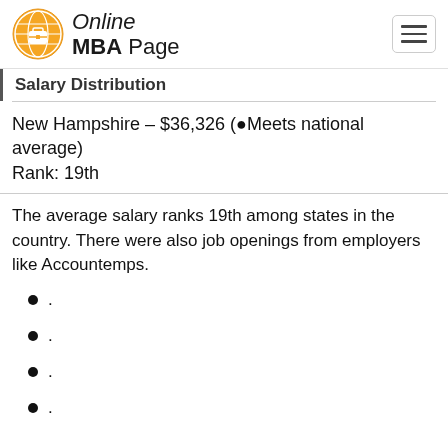Online MBA Page
Salary Distribution
New Hampshire – $36,326 (●Meets national average)    Rank: 19th
The average salary ranks 19th among states in the country. There were also job openings from employers like Accountemps.
.
.
.
.